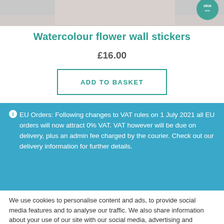[Figure (photo): Top portion of a product image showing watercolour flower wall stickers with a teal/green logo badge in the top right corner]
Watercolour flower wall stickers
£16.00
ADD TO BASKET
EU Orders: Following changes to VAT rules on 1 July 2021 all EU orders will now attract 0% VAT. VAT however will be due on delivery, plus an admin fee charged by the courier. Check out our delivery information for further details.
We use cookies to personalise content and ads, to provide social media features and to analyse our traffic. We also share information about your use of our site with our social media, advertising and analytics partners. View our cookie policy here.